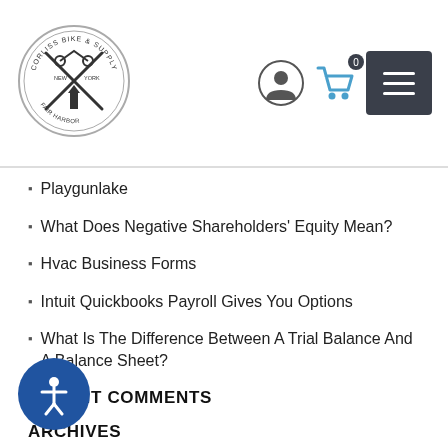Corliss Bike & Supply – site header with logo and navigation icons
Playgunlake
What Does Negative Shareholders' Equity Mean?
Hvac Business Forms
Intuit Quickbooks Payroll Gives You Options
What Is The Difference Between A Trial Balance And A Balance Sheet?
RECENT COMMENTS
ARCHIVES
December 2021
September 2021
August 2021
July 2021